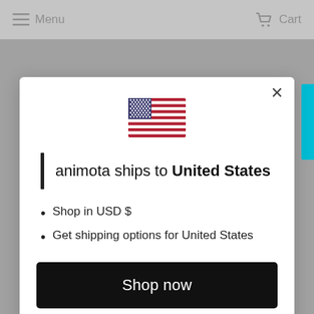Menu   Cart
[Figure (illustration): US flag emoji icon centered in modal dialog]
animota ships to United States
Shop in USD $
Get shipping options for United States
Shop now
Change shipping country
Are you searching for a specific product?